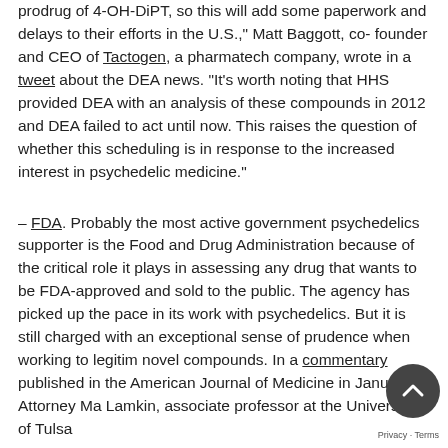prodrug of 4-OH-DiPT, so this will add some paperwork and delays to their efforts in the U.S.," Matt Baggott, co-founder and CEO of Tactogen, a pharmatech company, wrote in a tweet about the DEA news. "It's worth noting that HHS provided DEA with an analysis of these compounds in 2012 and DEA failed to act until now. This raises the question of whether this scheduling is in response to the increased interest in psychedelic medicine."
– FDA. Probably the most active government psychedelics supporter is the Food and Drug Administration because of the critical role it plays in assessing any drug that wants to be FDA-approved and sold to the public. The agency has picked up the pace in its work with psychedelics. But it is still charged with an exceptional sense of prudence when working to legitim novel compounds. In a commentary published in the American Journal of Medicine in January, Attorney Ma Lamkin, associate professor at the University of Tulsa